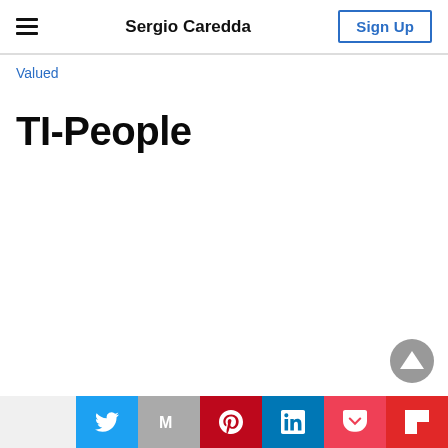Sergio Caredda | Sign Up
Valued
TI-People
[Figure (other): Scroll-to-top button: gray circle with white upward-pointing triangle arrow]
Social share bar: Twitter, Mail, Pinterest, LinkedIn, Pocket, Flipboard